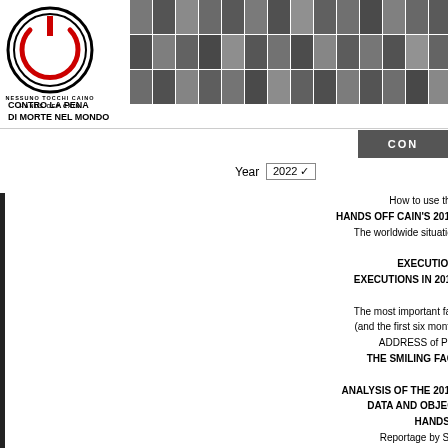[Figure (logo): Hands Off Cain circular logo with red power button icon and text NESSUNO TOCCHI CAINO / HANDS OFF CAIN around the circle]
[Figure (photo): Grid of portrait photos of people, used as header banner]
CONTRO LA PENA
DI MORTE NEL MONDO
CON
Year 2022
How to use the database
HANDS OFF CAIN'S 2015 REPORT
The worldwide situation (as of 30 June 2016)
EXECUTIONS IN 2014
EXECUTIONS IN 2015 (as of 30 June)
The most important facts of 2015 (and the first six months of 2016)
ADDRESS of Pope Francis
THE SMILING FACE OF THE MULLAHS
ANALYSIS OF THE 2015 REPORT
DATA AND OBJECTIVES OF HANDS OFF CAIN
Reportage by Sergio D'Elia
Reportage by Marco Perduca
"THE ABOLITIONIST OF THE YEAR 2015" AWARD
Protocol of understanding between NTC and CNF
IRAN: DEATH S... REPORTEDLY U... NADARKHANI
June 30, 2011: (CSW) reported down in 2010 evangelical pas... was reportedly u... the Supreme Co... Pastor Yousef N... was arrested in his home city of Rasht on Octob... register his church. His arrest is believed to have... the Muslim monopoly on the religious instructio... initially charged with protesting, however the c... changed to apostasy and evangelising Muslims... held in Lakan prison since that time. He was tried and found guilty on September 22... Revolutionary Tribunal. The pastor's lawyer file... 2010. However, following a 6-month wait for an... confirmed that the appeal was unsuccessful, alth... official notification of this failure. Pastor Nadarkhani had been imprisoned prev... charges of apostasy and evangelism, but was...
Yousef Nadarkhani